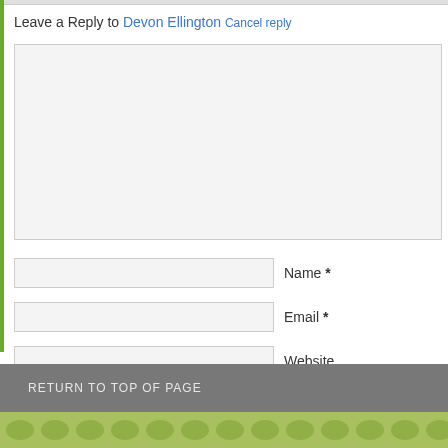Leave a Reply to Devon Ellington Cancel reply
[Figure (screenshot): Comment text area input field, large empty textarea with light gray background]
Name *
Email *
Website
POST COMMENT
RETURN TO TOP OF PAGE